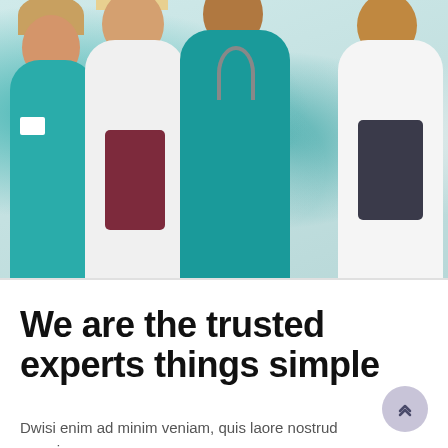[Figure (photo): Group photo of four medical professionals standing together: a nurse in teal scrubs on the left, a female doctor in white coat with dark red top, a male in teal surgical scrubs with stethoscope in center, and a doctor in white coat with arms crossed on the right.]
We are the trusted experts things simple
Dwisi enim ad minim veniam, quis laore nostrud exerci